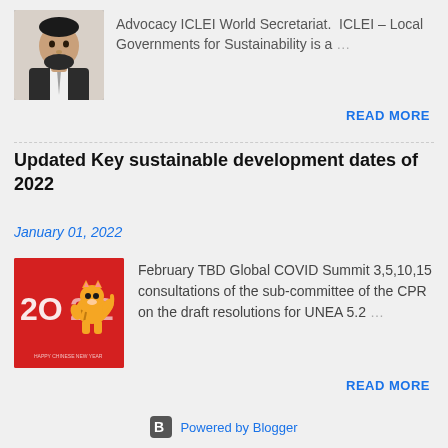[Figure (photo): Portrait photo of a man in a suit with beard, top-left of page snippet]
Advocacy ICLEI World Secretariat.  ICLEI – Local Governments for Sustainability is a …
READ MORE
Updated Key sustainable development dates of 2022
January 01, 2022
[Figure (illustration): Red square image with '2022' text and a cartoon tiger illustration for Chinese New Year]
February TBD Global COVID Summit 3,5,10,15 consultations of the sub-committee of the CPR on the draft resolutions for UNEA 5.2 …
READ MORE
Powered by Blogger